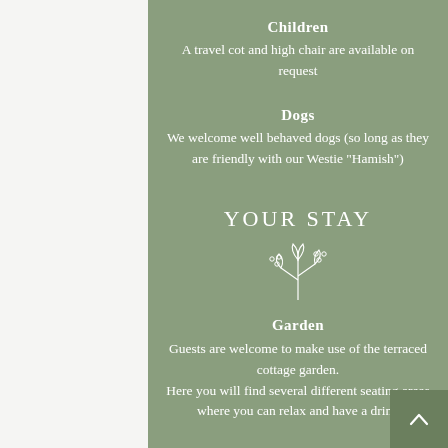Children
A travel cot and high chair are available on request
Dogs
We welcome well behaved dogs (so long as they are friendly with our Westie "Hamish")
YOUR STAY
[Figure (illustration): Small decorative botanical illustration of a plant with berries and leaves, white line art]
Garden
Guests are welcome to make use of the terraced cottage garden. Here you will find several different seating areas where you can relax and have a drink